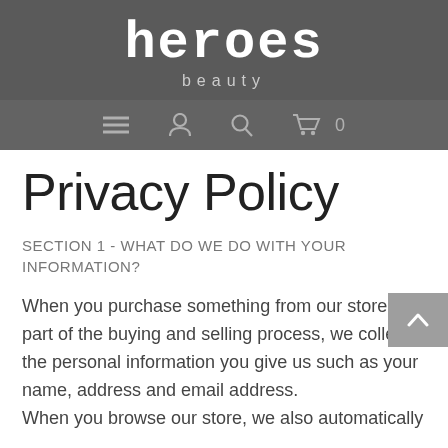[Figure (logo): Heroes Beauty logo with stylized text 'heroes' in white on dark grey background, with 'beauty' subtitle below in lighter grey]
[Figure (other): Navigation bar with menu (hamburger), account (person icon), search (magnifying glass), and cart (shopping cart with 0) icons on dark grey background]
Privacy Policy
SECTION 1 - WHAT DO WE DO WITH YOUR INFORMATION?
When you purchase something from our store, as part of the buying and selling process, we collect the personal information you give us such as your name, address and email address.
When you browse our store, we also automatically